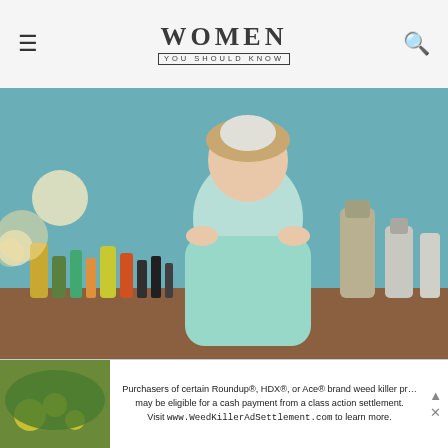WOMEN YOU SHOULD KNOW
[Figure (photo): Hero photo showing a person in a mint-green shirt seated at a vanity mirror surrounded by various beauty and grooming products]
Gender Pay Gap Video Shows What Life Is Like When Women Get 20% Less... Of Everything
WYSK × APRIL 3, 2017
[Figure (photo): Second article image showing a young girl with trees and greenery in background]
Purchasers of certain Roundup®, HDX®, or Ace® brand weed killer pro may be eligible for a cash payment from a class action settlement. Visit www.WeedKillerAdSettlement.com to learn more.